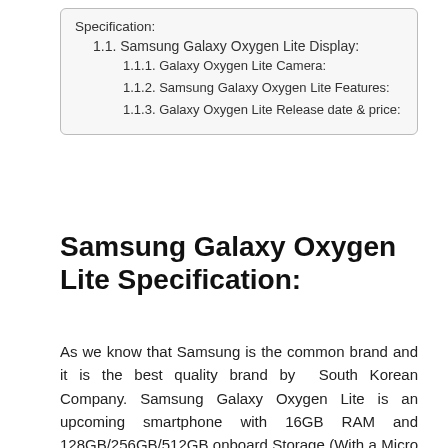Specification:
1.1. Samsung Galaxy Oxygen Lite Display:
1.1.1. Galaxy Oxygen Lite Camera:
1.1.2. Samsung Galaxy Oxygen Lite Features:
1.1.3. Galaxy Oxygen Lite Release date & price:
Samsung Galaxy Oxygen Lite Specification:
As we know that Samsung is the common brand and it is the best quality brand by South Korean Company. Samsung Galaxy Oxygen Lite is an upcoming smartphone with 16GB RAM and 128GB/256GB/512GB onboard Storage (With a Micro SD card). It is massive support for downloading any movie, game, and others apps